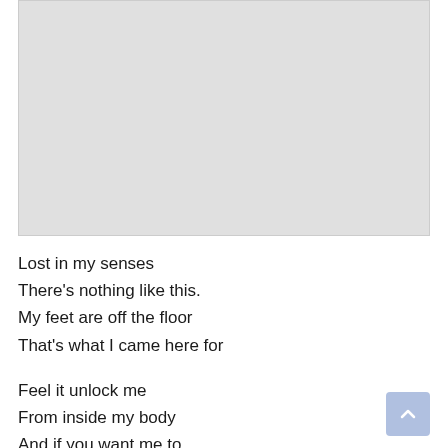[Figure (other): Large light gray rectangular image placeholder area at the top of the page]
Lost in my senses
There's nothing like this.
My feet are off the floor
That's what I came here for

Feel it unlock me
From inside my body
And if you want me to
I can get one for you